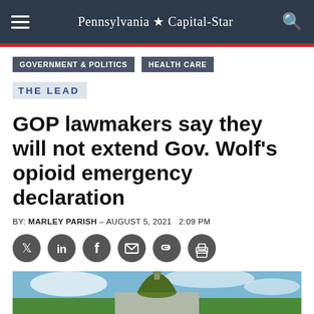Pennsylvania Capital-Star
GOVERNMENT & POLITICS
HEALTH CARE
THE LEAD
GOP lawmakers say they will not extend Gov. Wolf's opioid emergency declaration
BY: MARLEY PARISH – AUGUST 5, 2021   2:09 PM
[Figure (illustration): Row of social sharing icons: Twitter, LinkedIn, Facebook, Email, Link, Print]
[Figure (photo): Partial view of the Pennsylvania State Capitol building dome against a cloudy blue sky]